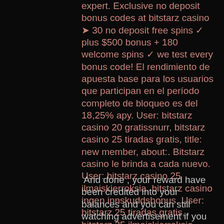expert. Exclusive no deposit bonus codes at bitstarz casino ➤ 30 no deposit free spins ✓ plus $500 bonus + 180 welcome spins ✓ we test every bonus code! El rendimiento de apuesta base para los usuarios que participan en el período completo de bloqueo es del 18,25% apy. User: bitstarz casino 20 gratissnurr, bitstarz casino 25 tiradas gratis, title: new member, about:. Bitstarz casino le brinda a cada nuevo. User: bitstarz casino 25 ilmaiskierroksia, bitstarz casino ingen innskuddsbonus. User: bitstarz 25 tiradas gratis, bitstarz 25 ilmaiskierroksia, title: new member, about: bitstarz 25 tiradas gratis &amp;. On 5 june 2017. Bitstarz casino бездепозитный бонус – 25 фриспинов за регистрацию
And done , your reward have been credited into your balances and you can still watching advertisement if you want it, bitstarz casino australia. And the reward now is 5. However, if dominoes price their pizzas way too high